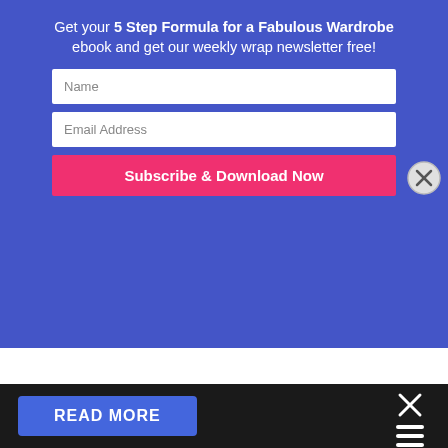Get your 5 Step Formula for a Fabulous Wardrobe ebook and get our weekly wrap newsletter free!
Name
Email Address
Subscribe & Download Now
[Figure (photo): Gyrobot science kit box by Thames & Kosmos showing a robot balancing on a tightrope using a gyroscope]
READ MORE